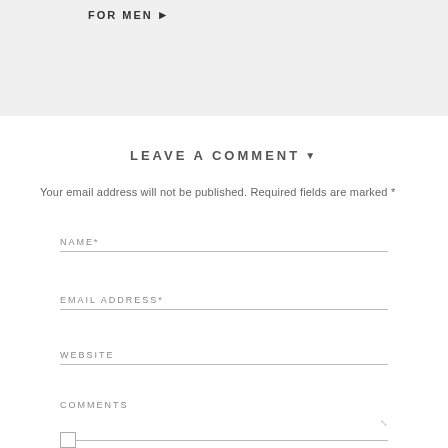FOR MEN ▶
LEAVE A COMMENT ▾
Your email address will not be published. Required fields are marked *
NAME*
EMAIL ADDRESS*
WEBSITE
COMMENTS